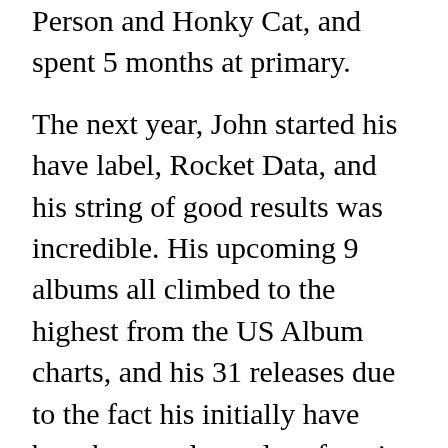Person and Honky Cat, and spent 5 months at primary.
The next year, John started his have label, Rocket Data, and his string of good results was incredible. His upcoming 9 albums all climbed to the highest from the US Album charts, and his 31 releases due to the fact his initially have bought countless a lot of copies all over the world.
Awards/Acknowledgements
John is revered by hundreds of thousands, equally Within the audio industry and by